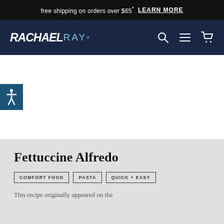free shipping on orders over $65* LEARN MORE
[Figure (logo): Rachael Ray logo in white and light blue text on dark navy background with navigation icons (search, menu, cart)]
[Figure (other): Accessibility button (person with arms out icon) on dark teal/navy square on left side of white area]
Fettuccine Alfredo
COMFORT FOOD
PASTA
QUICK + EASY
This recipe originally appeared on the